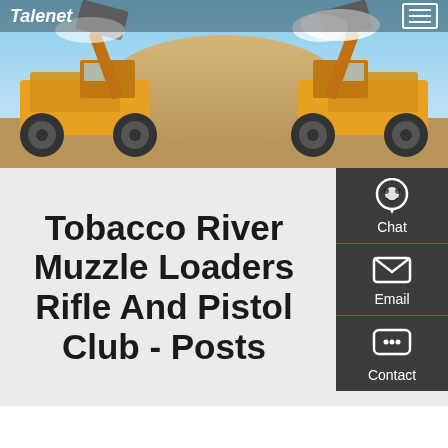Talenet
[Figure (photo): Two large yellow wheel loaders / front loaders facing each other with raised buckets, against a blue sky with sand/dirt mound in background]
Tobacco River Muzzle Loaders Rifle And Pistol Club - Posts